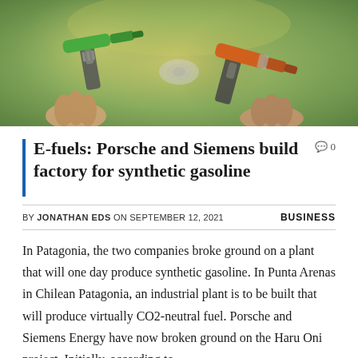[Figure (photo): Close-up photo of hands holding green and orange fuel pump nozzles with a blurred outdoor background]
E-fuels: Porsche and Siemens build factory for synthetic gasoline
BY JONATHAN EDS ON SEPTEMBER 12, 2021    BUSINESS
In Patagonia, the two companies broke ground on a plant that will one day produce synthetic gasoline. In Punta Arenas in Chilean Patagonia, an industrial plant is to be built that will produce virtually CO2-neutral fuel. Porsche and Siemens Energy have now broken ground on the Haru Oni project. Initially, according to